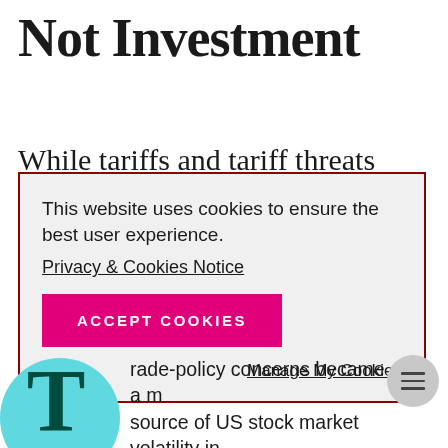Not Investment
While tariffs and tariff threats
This website uses cookies to ensure the best user experience.
Privacy & Cookies Notice
ACCEPT COOKIES
Manage My Cookies
rade-policy concerns became a major source of US stock market volatility in 2018. For example, the S&P 500 fell 2.5